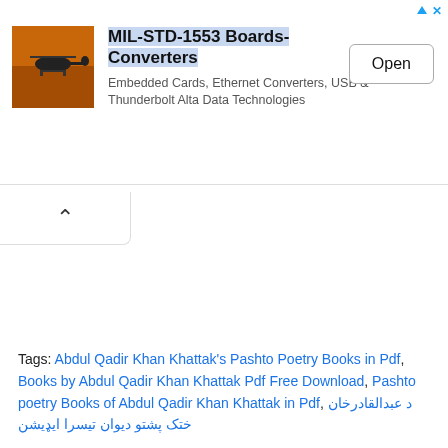[Figure (screenshot): Advertisement banner: helicopter image on left, title 'MIL-STD-1553 Boards-Converters', description 'Embedded Cards, Ethernet Converters, USB & Thunderbolt Alta Data Technologies', and an 'Open' button on the right.]
Tags: Abdul Qadir Khan Khattak's Pashto Poetry Books in Pdf, Books by Abdul Qadir Khan Khattak Pdf Free Download, Pashto poetry Books of Abdul Qadir Khan Khattak in Pdf, د عبدالقادرخان ختک پشتو ديوان تيسرا ايډيشن